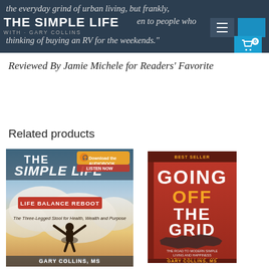the everyday grind of urban living, but frankly, [The Simple Life with Gary Collins logo] en to people who thinking of buying an RV for the weekends."
Reviewed By Jamie Michele for Readers' Favorite
Related products
[Figure (photo): Book cover: The Simple Life - Life Balance Reboot by Gary Collins MS, with Download the Audiobook badge]
[Figure (photo): Book cover: Going Off The Grid by Gary Collins MS, red cover with US map silhouette]